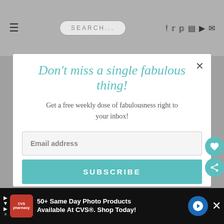SEARCH...
Don't miss a single fabulous thing!
Get a free weekly dose of fabulousness right to your inbox!
Email address
SUBSCRIBE
[Figure (screenshot): CVS Pharmacy advertisement banner: 50+ Same Day Photo Products Available At CVS®. Shop Today!]